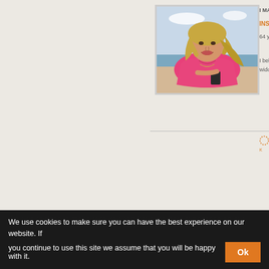[Figure (photo): Woman in pink top lying on beach, smiling, with ocean in background. Profile photo on dating/social website.]
I MA
INSPI
64 y
I bel wido
K
We use cookies to make sure you can have the best experience on our website. If you continue to use this site we assume that you will be happy with it.
Ok